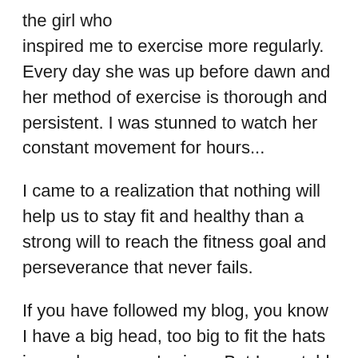the girl who inspired me to exercise more regularly. Every day she was up before dawn and her method of exercise is thorough and persistent. I was stunned to watch her constant movement for hours...
I came to a realization that nothing will help us to stay fit and healthy than a strong will to reach the fitness goal and perseverance that never fails.
If you have followed my blog, you know I have a big head, too big to fit the hats in regular women's sizes. But I was told that I must be smart because my head loads more brain. I also have big hands and feet, for that my high school English teacher had his points: People with big hands are smart; Big feet, dumb. I have been zeroed out, I am just an ordinary soul.